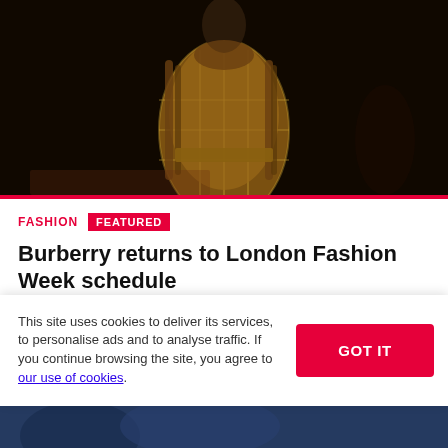[Figure (photo): Fashion model wearing an ornate Burberry tartan coat with embellishments on a dark runway background]
FASHION   FEATURED
Burberry returns to London Fashion Week schedule
The British Fashion Council (BFC) has released the provisional schedule for London Fashion Week in September, including
This site uses cookies to deliver its services, to personalise ads and to analyse traffic. If you continue browsing the site, you agree to our use of cookies.
[Figure (photo): Partial view of another fashion image at the bottom of the page]